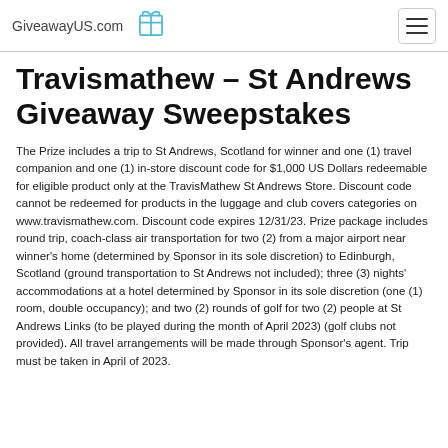GiveawayUS.com
Travismathew – St Andrews Giveaway Sweepstakes
The Prize includes a trip to St Andrews, Scotland for winner and one (1) travel companion and one (1) in-store discount code for $1,000 US Dollars redeemable for eligible product only at the TravisMathew St Andrews Store. Discount code cannot be redeemed for products in the luggage and club covers categories on www.travismathew.com. Discount code expires 12/31/23. Prize package includes round trip, coach-class air transportation for two (2) from a major airport near winner's home (determined by Sponsor in its sole discretion) to Edinburgh, Scotland (ground transportation to St Andrews not included); three (3) nights' accommodations at a hotel determined by Sponsor in its sole discretion (one (1) room, double occupancy); and two (2) rounds of golf for two (2) people at St Andrews Links (to be played during the month of April 2023) (golf clubs not provided). All travel arrangements will be made through Sponsor's agent. Trip must be taken in April of 2023.